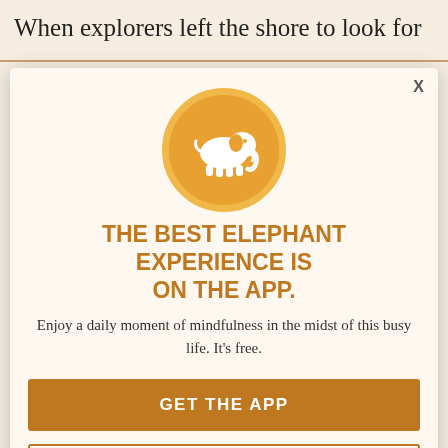When explorers left the shore to look for
other continents, they didn't know when they were going. They only knew that they had to go and answer the call of something hidden, right in their hearts. All those explorers, and all the people who explore new meditation are a necessary. On a side note, if someone has difficulty in regular relationships, that alone isn't necessarily a cure for this.
[Figure (illustration): App promotion modal overlay with elephant logo in orange circle, showing 'THE BEST ELEPHANT EXPERIENCE IS ON THE APP.' with GET THE APP and OPEN IN APP buttons]
THE BEST ELEPHANT EXPERIENCE IS ON THE APP.
Enjoy a daily moment of mindfulness in the midst of this busy life. It's free.
GET THE APP
OPEN IN APP